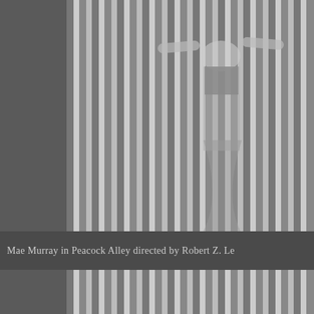[Figure (photo): Black and white photograph showing Mae Murray standing behind vertical curtain/drapery stripes, wearing a decorated costume with beaded top, arms outstretched, cropped at top of frame.]
Mae Murray in Peacock Alley directed by Robert Z. Le
[Figure (photo): Black and white photograph showing Mae Murray dancing with arms outstretched against vertical curtain/drapery stripes, wearing a decorated costume, head tilted back, with a handwritten autograph visible on the photo.]